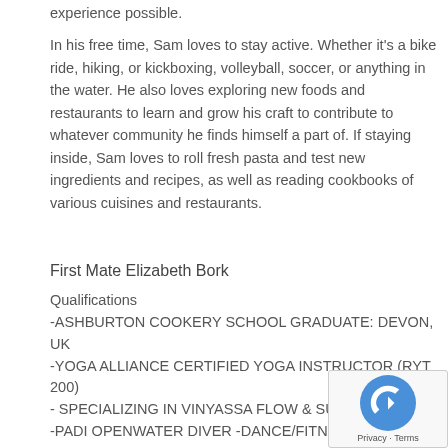experience possible.
In his free time, Sam loves to stay active. Whether it's a bike ride, hiking, or kickboxing, volleyball, soccer, or anything in the water. He also loves exploring new foods and restaurants to learn and grow his craft to contribute to whatever community he finds himself a part of. If staying inside, Sam loves to roll fresh pasta and test new ingredients and recipes, as well as reading cookbooks of various cuisines and restaurants.
First Mate Elizabeth Bork
Qualifications
-ASHBURTON COOKERY SCHOOL GRADUATE: DEVON, UK
-YOGA ALLIANCE CERTIFIED YOGA INSTRUCTOR (RYT 200)
- SPECIALIZING IN VINYASSA FLOW & SUP YOG...
-PADI OPENWATER DIVER -DANCE/FITNESS INSTRUCTOR
-7 YEARS EXPERIENCE IN THE EVENT & MEETING